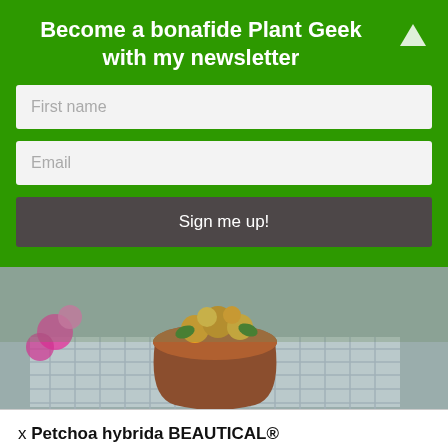Become a bonafide Plant Geek with my newsletter
[Figure (screenshot): Newsletter sign-up form with First name and Email fields and a Sign me up! button on a green background]
[Figure (photo): Photo of a brown clay pot with yellow-orange flowers on a wire mesh grid surface, with pink flowers visible in the background]
x Petchoa hybrida BEAUTICAL®
Incredibly weather tolerant and with exceptional rain resistance, BeautiCal's mounded plants produce an abundance of large flowers which give a mass of colour all summer long. Less sticky, non smelling and self cleaning, it is the perfect Petunia!